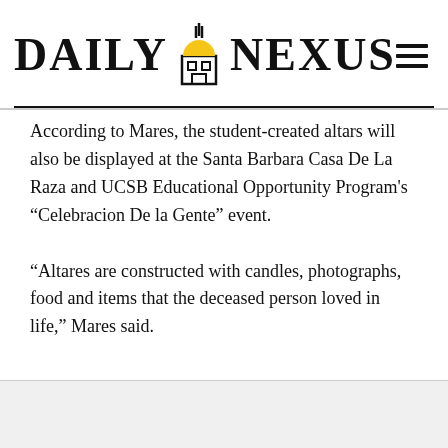DAILY NEXUS
According to Mares, the student-created altars will also be displayed at the Santa Barbara Casa De La Raza and UCSB Educational Opportunity Program’s “Celebracion De la Gente” event.
“Altares are constructed with candles, photographs, food and items that the deceased person loved in life,” Mares said.